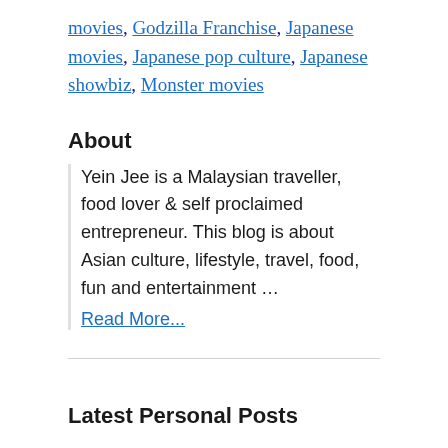movies, Godzilla Franchise, Japanese movies, Japanese pop culture, Japanese showbiz, Monster movies
About
Yein Jee is a Malaysian traveller, food lover & self proclaimed entrepreneur. This blog is about Asian culture, lifestyle, travel, food, fun and entertainment … Read More...
Latest Personal Posts
Happy CNY 2019 and Good Health
Happy Chinese New Year and Happy Lunar New Year Traditional CNY...